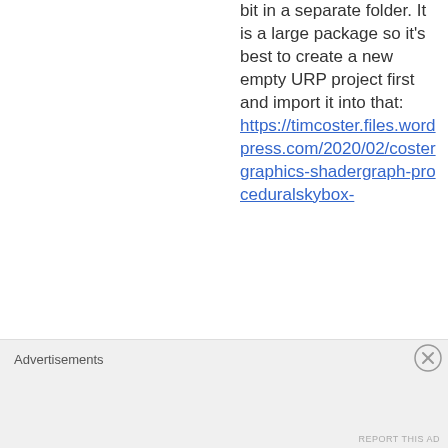bit in a separate folder. It is a large package so it's best to create a new empty URP project first and import it into that: https://timcoster.files.wordpress.com/2020/02/costergraphics-shadergraph-proceduralskybox-
Advertisements